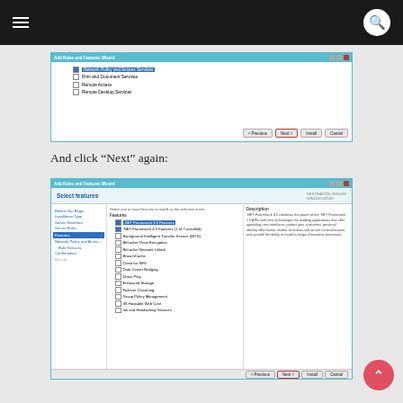Navigation bar with hamburger menu and search icon
[Figure (screenshot): Windows Server Add Roles and Features Wizard showing server roles list with Network Policy and Access Services checked, and Next button highlighted in red border]
And click “Next” again:
[Figure (screenshot): Add Roles and Features Wizard - Select features screen showing .NET Framework 3.5 Features highlighted, .NET Framework 4.5 Features checked, and various other features listed with Next button highlighted in red border]